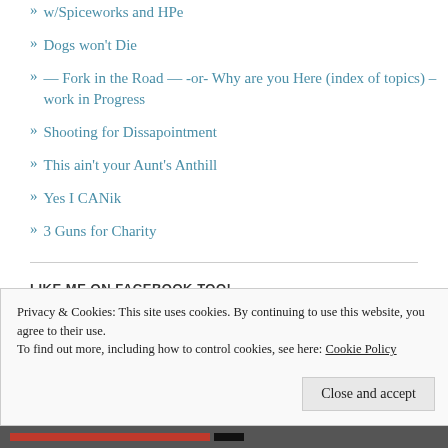w/Spiceworks and HPe
Dogs won't Die
— Fork in the Road — -or- Why are you Here (index of topics) – work in Progress
Shooting for Dissapointment
This ain't your Aunt's Anthill
Yes I CANik
3 Guns for Charity
LIKE ME ON FACEBOOK TOO!
Zombie Wrangler
Privacy & Cookies: This site uses cookies. By continuing to use this website, you agree to their use.
To find out more, including how to control cookies, see here: Cookie Policy